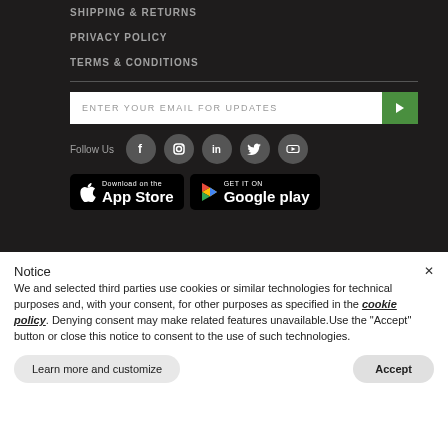SHIPPING & RETURNS
PRIVACY POLICY
TERMS & CONDITIONS
ENTER YOUR EMAIL FOR UPDATES
Follow Us
[Figure (screenshot): App Store download badge]
[Figure (screenshot): Google Play download badge]
Notice
We and selected third parties use cookies or similar technologies for technical purposes and, with your consent, for other purposes as specified in the cookie policy. Denying consent may make related features unavailable.Use the "Accept" button or close this notice to consent to the use of such technologies.
Learn more and customize
Accept